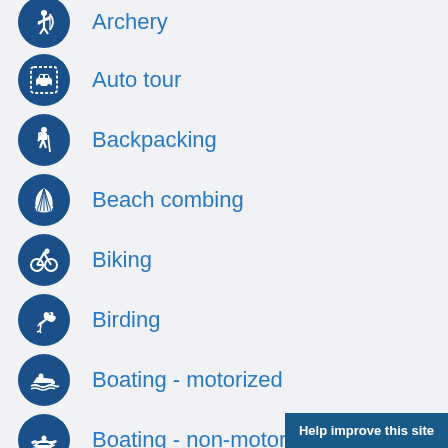Archery
Auto tour
Backpacking
Beach combing
Biking
Birding
Boating - motorized
Boating - non-motorized
Help improve this site